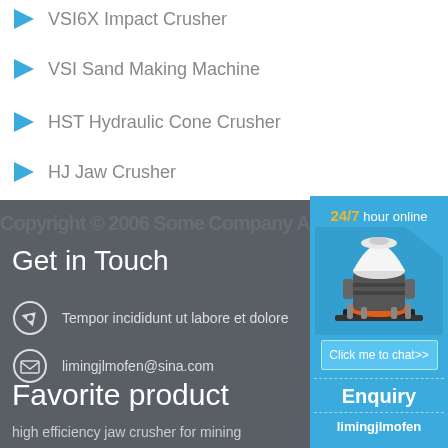VSI6X Impact Crusher
VSI Sand Making Machine
HST Hydraulic Cone Crusher
HJ Jaw Crusher
Get in Touch
Tempor incididunt ut labore et dolore
limingjlmofen@sina.com
Favorite product
high efficiency jaw crusher for mining
[Figure (photo): Blue sidebar panel with cone crusher machine image, 24/7 hour online text, Click me to chat>> button, Enquiry section, and limingjlmofen text]
24/7 hour online
Click me to chat>>
Enquiry
limingjlmofen